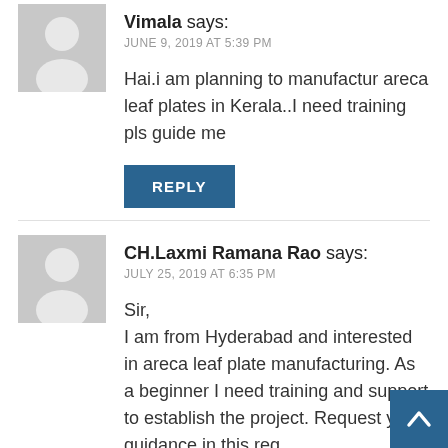Vimala says:
JUNE 9, 2019 AT 5:39 PM
Hai.i am planning to manufactur areca leaf plates in Kerala..I need training pls guide me
REPLY
CH.Laxmi Ramana Rao says:
JULY 25, 2019 AT 6:35 PM
Sir,
I am from Hyderabad and interested in areca leaf plate manufacturing. As a beginner I need training and support to establish the project. Request your guidance in this reg